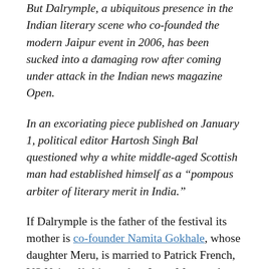But Dalrymple, a ubiquitous presence in the Indian literary scene who co-founded the modern Jaipur event in 2006, has been sucked into a damaging row after coming under attack in the Indian news magazine Open.
In an excoriating piece published on January 1, political editor Hartosh Singh Bal questioned why a white middle-aged Scottish man had established himself as a “pompous arbiter of literary merit in India.”
If Dalrymple is the father of the festival its mother is co-founder Namita Gokhale, whose daughter Meru, is married to Patrick French, VS Naipaul’s biographer. I met Meru and Patrick at the 2008 staging of Calabash where Patrick